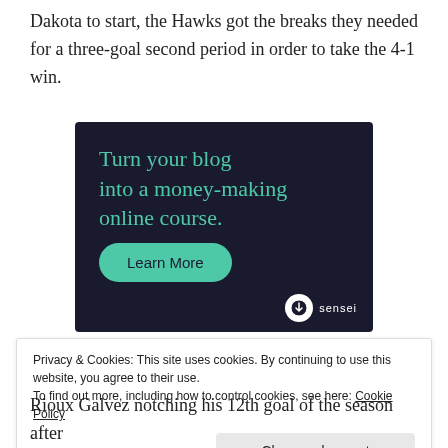Dakota to start, the Hawks got the breaks they needed for a three-goal second period in order to take the 4-1 win.
[Figure (other): Advertisement banner with dark navy background. Headline text reads 'Turn your blog into a money-making online course.' in teal color, with a teal 'Learn More' button below. Sensei logo in bottom right corner.]
Privacy & Cookies: This site uses cookies. By continuing to use this website, you agree to their use.
To find out more, including how to control cookies, see here: Cookie Policy
Close and accept
Rioux Galvez notching his 12th goal of the season after